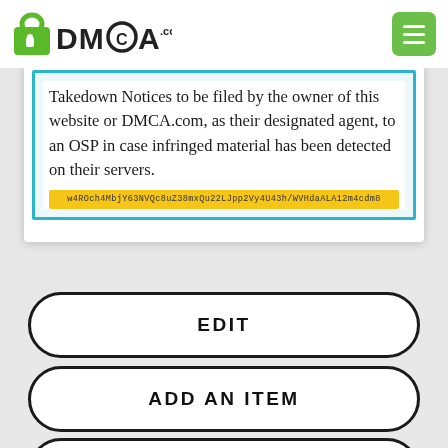[Figure (logo): DMCA.com logo with padlock icon and green menu button in top right]
Takedown Notices to be filed by the owner of this website or DMCA.com, as their designated agent, to an OSP in case infringed material has been detected on their servers.
w4ROch4MbjY63NVQc8uZ38mxQu22LJpp2Vy4U43h/WVHdaALA12m4cdm8
EDIT
ADD AN ITEM
REPROCESS